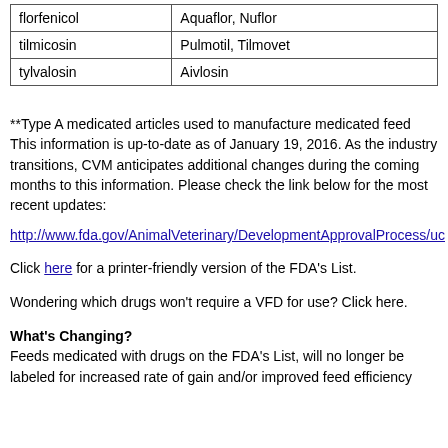| florfenicol | Aquaflor, Nuflor |
| tilmicosin | Pulmotil, Tilmovet |
| tylvalosin | Aivlosin |
**Type A medicated articles used to manufacture medicated feed
This information is up-to-date as of January 19, 2016. As the industry transitions, CVM anticipates additional changes during the coming months to this information. Please check the link below for the most recent updates:
http://www.fda.gov/AnimalVeterinary/DevelopmentApprovalProcess/uc
Click here for a printer-friendly version of the FDA's List.
Wondering which drugs won't require a VFD for use? Click here.
What's Changing?
Feeds medicated with drugs on the FDA's List, will no longer be labeled for increased rate of gain and/or improved feed efficiency